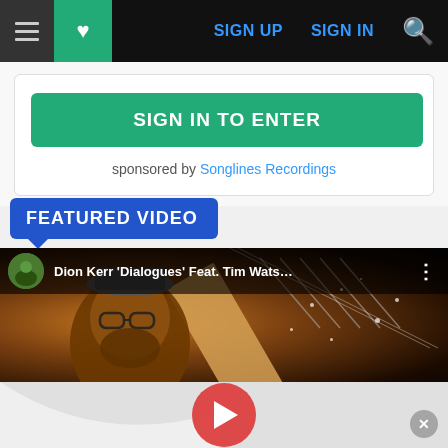Navigation bar with hamburger menu, favorites icon, SIGN UP, SIGN IN, and search icon
SIGN IN TO ENTER
sponsored by Songlines Recordings
FEATURED VIDEO
[Figure (screenshot): YouTube video thumbnail showing a man with glasses playing guitar. Video title: Dion Kerr 'Dialogues' Feat. Tim Wats...]
[Figure (screenshot): Bottom advertisement bar with YouTube play button and close (X) button]